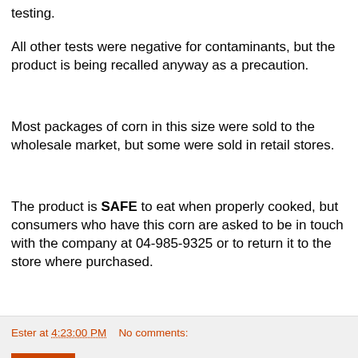testing.
All other tests were negative for contaminants, but the product is being recalled anyway as a precaution.
Most packages of corn in this size were sold to the wholesale market, but some were sold in retail stores.
The product is SAFE to eat when properly cooked, but consumers who have this corn are asked to be in touch with the company at 04-985-9325 or to return it to the store where purchased.
Stay on top of recalls! Be sure to follow me on Facebook so you don't miss out!
Ester at 4:23:00 PM    No comments: